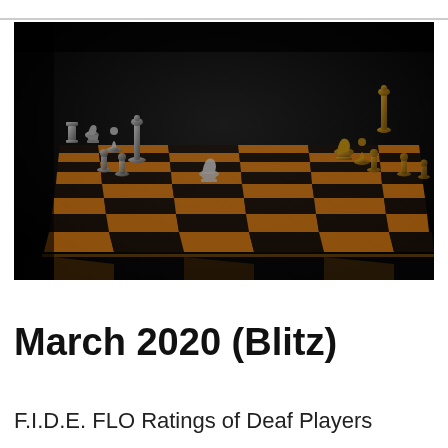[Figure (photo): A dramatic low-angle photograph of a chess board with silver and gold/bronze chess pieces arranged mid-game, against a dark black background. The board has alternating black and amber/orange squares. The chess pieces are metallic and reflective.]
March 2020 (Blitz)
F.I.D.E. FLO Ratings of Deaf Players